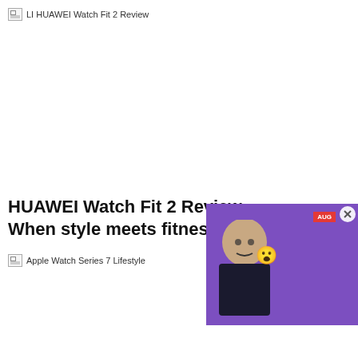LI HUAWEI Watch Fit 2 Review
HUAWEI Watch Fit 2 Review: When style meets fitness
[Figure (photo): Broken image placeholder for Apple Watch Series 7 Lifestyle photo]
[Figure (screenshot): Video overlay thumbnail showing a man with surprised emoji, Samsung Galaxy Z Fold3 and Z Flip3 phones, AUG badge, DAILY text, and play button. Purple background.]